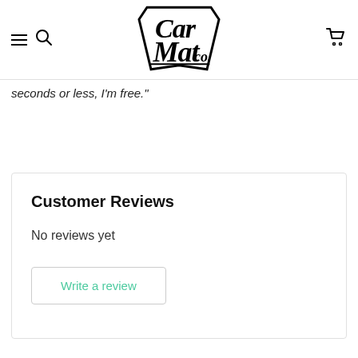Car Mat Co. - navigation header with hamburger menu, search icon, logo, and cart icon
seconds or less, I'm free."
Customer Reviews
No reviews yet
Write a review